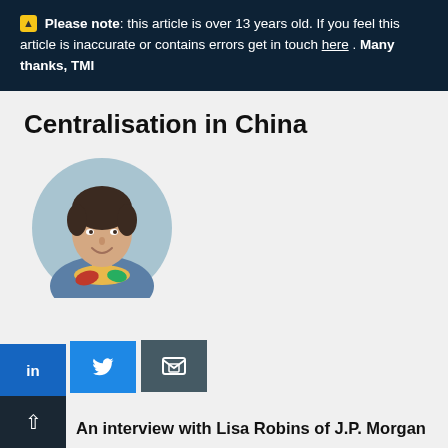⚠ Please note: this article is over 13 years old. If you feel this article is inaccurate or contains errors get in touch here . Many thanks, TMI
Centralisation in China
[Figure (photo): Circular portrait photo of a woman with short dark hair, smiling, wearing a colorful scarf and blue blazer]
[Figure (infographic): Social sharing bar with LinkedIn, Twitter, and email icons, and a scroll-to-top arrow button]
An interview with Lisa Robins of J.P. Morgan